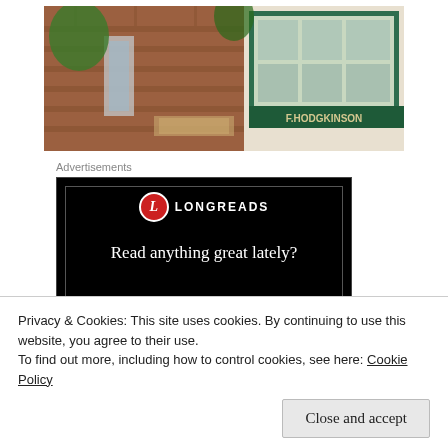[Figure (photo): Aerial view of a brick sidewalk outside a shop storefront with sign reading F.HODGKINSON, showing display cases and plants]
Advertisements
[Figure (screenshot): Longreads advertisement banner with red circle L logo, white text 'LONGREADS' and tagline 'Read anything great lately?']
Privacy & Cookies: This site uses cookies. By continuing to use this website, you agree to their use.
To find out more, including how to control cookies, see here: Cookie Policy
Close and accept